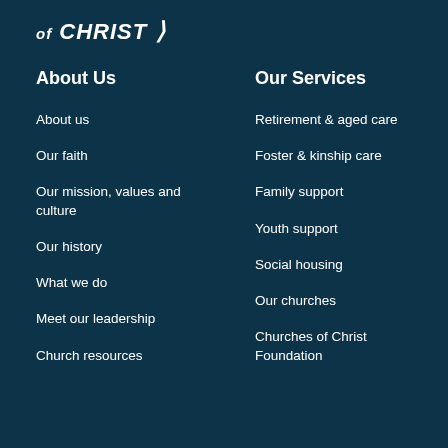of CHRIST /
About Us
About us
Our faith
Our mission, values and culture
Our history
What we do
Meet our leadership
Church resources
Our Services
Retirement & aged care
Foster & kinship care
Family support
Youth support
Social housing
Our churches
Churches of Christ Foundation